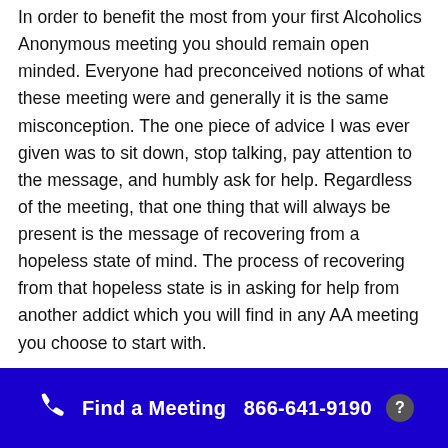In order to benefit the most from your first Alcoholics Anonymous meeting you should remain open minded. Everyone had preconceived notions of what these meeting were and generally it is the same misconception. The one piece of advice I was ever given was to sit down, stop talking, pay attention to the message, and humbly ask for help. Regardless of the meeting, that one thing that will always be present is the message of recovering from a hopeless state of mind. The process of recovering from that hopeless state is in asking for help from another addict which you will find in any AA meeting you choose to start with.
Find a Meeting  866-641-9190